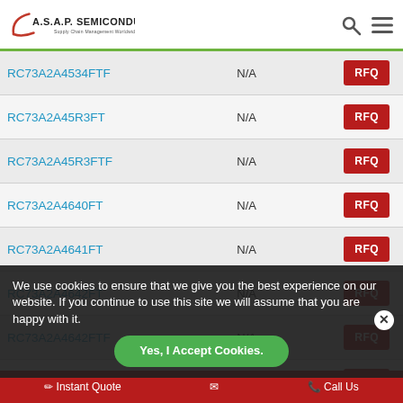A.S.A.P. Semiconductor — Supply Chain Management Worldwide
| Part Number | Availability | Action |
| --- | --- | --- |
| RC73A2A4534FTF | N/A | RFQ |
| RC73A2A45R3FT | N/A | RFQ |
| RC73A2A45R3FTF | N/A | RFQ |
| RC73A2A4640FT | N/A | RFQ |
| RC73A2A4641FT | N/A | RFQ |
| RC73A2A4642FT | N/A | RFQ |
| RC73A2A4642FTF | N/A | RFQ |
| RC73A2A4643FT | N/A | RFQ |
We use cookies to ensure that we give you the best experience on our website. If you continue to use this site we will assume that you are happy with it.
Yes, I Accept Cookies.